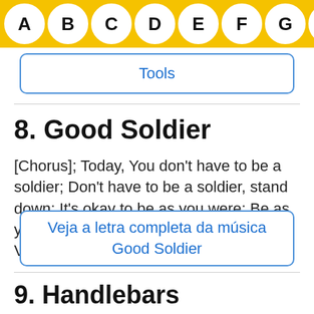A B C D E F G H I J
Tools
8. Good Soldier
[Chorus]; Today, You don't have to be a soldier; Don't have to be a soldier, stand down; It's okay to be as you were; Be as you were again. ; Is it a scheme? Is it a Vision? Is it a dream? Is it a nig...
Veja a letra completa da música Good Soldier
9. Handlebars